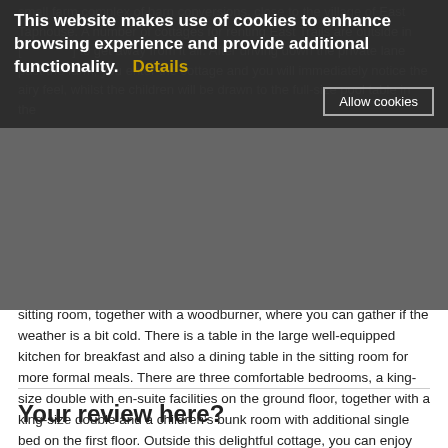small farm complex of barn conversions, close to the village of East Taphouse. A number of cottages for renting East Trails are outside in [blurred] to get away from it all. After driving down the private lane past the farm, you enter the cottage and you will immediately notice the airy feel, whilst the children will be drawn to the full-size pool table in the
[Figure (screenshot): Cookie consent banner overlay with dark semi-transparent background reading: 'This website makes use of cookies to enhance browsing experience and provide additional functionality.' with a yellow 'Details' link and an 'Allow cookies' button.]
sitting room, together with a woodburner, where you can gather if the weather is a bit cold. There is a table in the large well-equipped kitchen for breakfast and also a dining table in the sitting room for more formal meals. There are three comfortable bedrooms, a king-size double with en-suite facilities on the ground floor, together with a king-size double and a children's bunk room with additional single bed on the first floor. Outside this delightful cottage, you can enjoy dining alfresco on the superb enclosed private terrace, which is accessed from the sitting room. Drive back up the lane and you are on the way to a choice of Looe or Polperro, both about the same distance away. A day could easily be spent in each of these historic
Your review here?